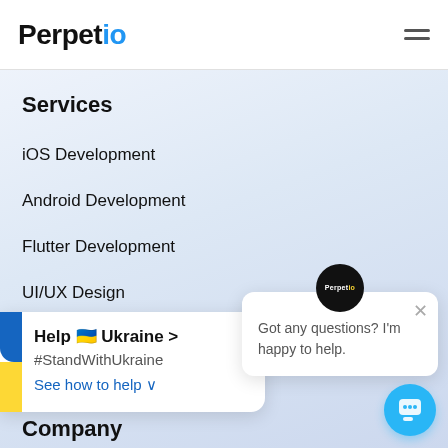Perpetio
Services
iOS Development
Android Development
Flutter Development
UI/UX Design
[Figure (screenshot): Ukraine support banner with blue and yellow flag bar, Help Ukraine text, #StandWithUkraine hashtag, and See how to help link]
[Figure (screenshot): Chat popup with Perpetio avatar, close button, and message: Got any questions? I'm happy to help.]
[Figure (screenshot): Blue circular chat button at bottom right]
Company